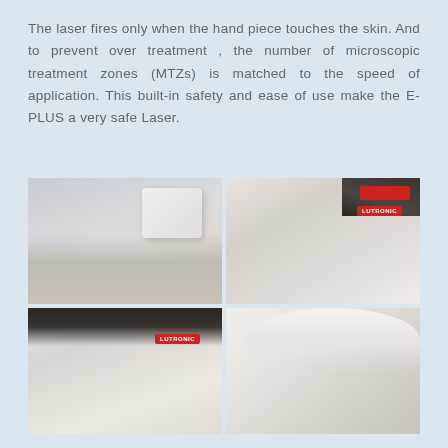The laser fires only when the hand piece touches the skin. And to prevent over treatment , the number of microscopic treatment zones (MTZs) is matched to the speed of application. This built-in safety and ease of use make the E- PLUS a very safe Laser.
[Figure (photo): Four photos arranged in a 2x2 grid showing laser skin treatment procedures. Top-left: patient lying down receiving neck/face treatment with a white handpiece device. Top-right: close-up of patient face receiving treatment with a small handheld device, doctor wearing Lutronic-branded coat. Bottom-left: patient receiving facial treatment with a brush/applicator, doctor wearing Lutronic-branded coat. Bottom-right: male doctor in white coat with safety goggles treating a patient's leg with a laser device.]